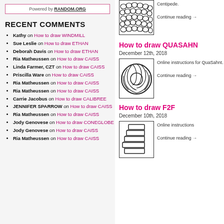Powered by RANDOM.ORG
RECENT COMMENTS
Kathy on How to draw WINDMILL
Sue Leslie on How to draw ETHAN
Deborah Davis on How to draw ETHAN
Ria Matheussen on How to draw CAISS
Linda Farmer, CZT on How to draw CAISS
Priscilla Ware on How to draw CAISS
Ria Matheussen on How to draw CAISS
Ria Matheussen on How to draw CAISS
Carrie Jacobus on How to draw CALIBREE
JENNIFER SPARROW on How to draw CAISS
Ria Matheussen on How to draw CAISS
Jody Genovese on How to draw CONEGLOBE
Jody Genovese on How to draw CAISS
Ria Matheussen on How to draw CAISS
Centipede.
Continue reading
[Figure (illustration): Black and white drawing of centipede-like tangled pattern]
How to draw QUASAHN
December 12th, 2018
[Figure (illustration): Black and white drawing of a swirling striped circular shape resembling QuaSahnt tangle pattern]
Online instructions for QuaSahnt.
Continue reading
How to draw F2F
December 10th, 2018
[Figure (illustration): Black and white drawing of F2F tangle pattern with angular shapes]
Online instructions
Continue reading